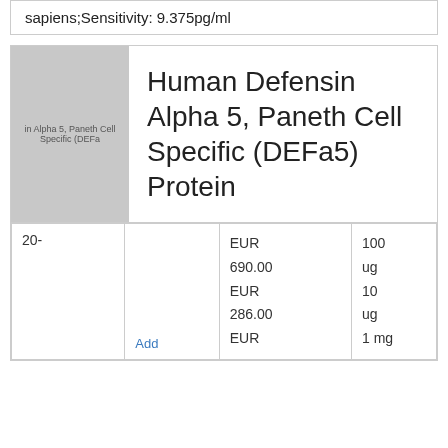sapiens;Sensitivity: 9.375pg/ml
[Figure (photo): Product image placeholder for Human Defensin Alpha 5, Paneth Cell Specific (DEFa5) Protein]
Human Defensin Alpha 5, Paneth Cell Specific (DEFa5) Protein
|  |  | Price | Size |
| --- | --- | --- | --- |
| 20- |  | EUR 690.00
EUR 286.00
EUR | 100 ug
10 ug
1 mg |